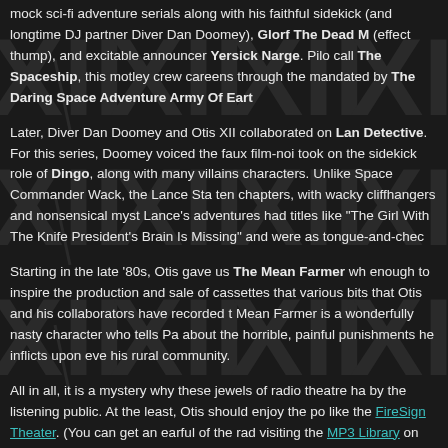mock sci-fi adventure serials along with his faithful sidekick (and longtime DJ partner Diver Dan Doomey), Glorf The Dead M[achine] (effect thump), and excitable announcer Yersick Narge. Pilo[ts] call The Spaceship, this motley crew careens through the [galaxy] mandated by The Daring Space Adventure Army Of Ear[th...]
Later, Diver Dan Doomey and Otis XII collaborated on Lane[...] Detective. For this series, Doomey voiced the faux film-noi[r...] took on the sidekick role of Dingo, along with many villains [and] characters. Unlike Space Commander Wack, the Lance Sta[...] ten chapters, with wacky cliffhangers and nonsensical myst[eries...] Lance's adventures had titles like "The Girl With The Knife [...]" President's Brain Is Missing" and were as tongue-and-chec[k...]
Starting in the late '80s, Otis gave us The Mean Farmer wh[ich was] enough to inspire the production and sale of cassettes that [feature] various bits that Otis and his collaborators have recorded th[rough...] Mean Farmer is a wonderfully nasty character who tells Pa[...] about the horrible, painful punishments he inflicts upon eve[ryone in] his rural community.
All in all, it is a mystery why these jewels of radio theatre ha[ven't been noticed] by the listening public. At the least, Otis should enjoy the po[pularity of groups] like the FireSign Theater. (You can get an earful of the rad[io theatre by] visiting the MP3 Library on OtisTwelve.com.)